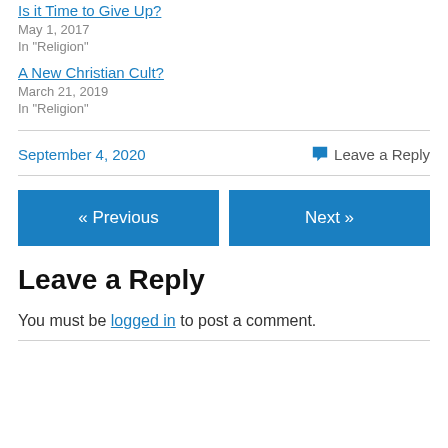Is it Time to Give Up?
May 1, 2017
In "Religion"
A New Christian Cult?
March 21, 2019
In "Religion"
September 4, 2020
Leave a Reply
« Previous
Next »
Leave a Reply
You must be logged in to post a comment.